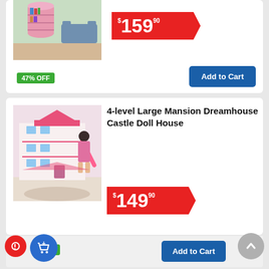[Figure (photo): Partial product card showing a pink rotating bookshelf with price $159.90, 47% OFF badge, and Add to Cart button]
$159.90
47% OFF
Add to Cart
4-level Large Mansion Dreamhouse Castle Doll House
[Figure (photo): Pink 4-level dollhouse with a girl playing next to it]
$149.90
46% OFF
Add to Cart